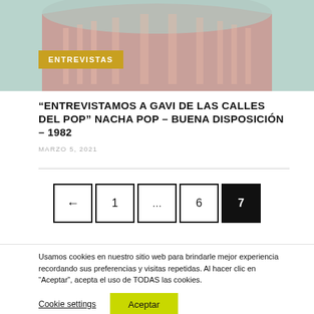[Figure (photo): Colorized building facade photo with pink and teal tones, featuring a curved architectural element]
ENTREVISTAS
“ENTREVISTAMOS A GAVI DE LAS CALLES DEL POP” NACHA POP – BUENA DISPOSICIÓN – 1982
MARZO 5, 2021
Usamos cookies en nuestro sitio web para brindarle mejor experiencia recordando sus preferencias y visitas repetidas. Al hacer clic en “Aceptar”, acepta el uso de TODAS las cookies.
Cookie settings
Aceptar